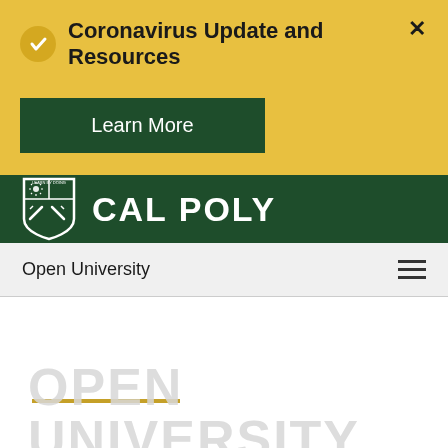Coronavirus Update and Resources
Learn More
[Figure (logo): Cal Poly shield logo with sun rays and tools, white on dark green background]
CAL POLY
Open University
OPEN UNIVERSITY